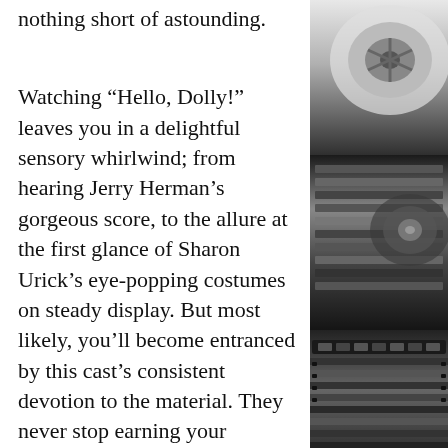nothing short of astounding.
[Figure (photo): Black and white close-up photograph of vintage film reels and audio/film equipment, showing reel spools and film strips in detail.]
Watching “Hello, Dolly!” leaves you in a delightful sensory whirlwind; from hearing Jerry Herman’s gorgeous score, to the allure at the first glance of Sharon Urick’s eye-popping costumes on steady display. But most likely, you’ll become entranced by this cast’s consistent devotion to the material. They never stop earning your attention; and the script by Michael Stewart allows the freedom to find surprising new meaning in a text that debuted over five decades ago.
Inman brings a poignancy to this